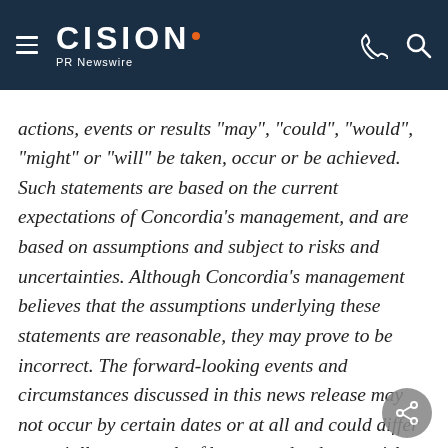CISION PR Newswire
actions, events or results "may", "could", "would", "might" or "will" be taken, occur or be achieved. Such statements are based on the current expectations of Concordia's management, and are based on assumptions and subject to risks and uncertainties. Although Concordia's management believes that the assumptions underlying these statements are reasonable, they may prove to be incorrect. The forward-looking events and circumstances discussed in this news release may not occur by certain dates or at all and could differ materially as a result of known and unknown risk factors and uncertainties affecting Concordia, including risks relating to Concordia's securities, the